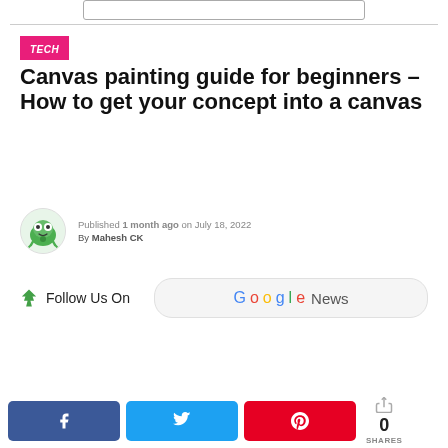[Figure (other): Search bar at top of page, partially visible]
TECH
Canvas painting guide for beginners – How to get your concept into a canvas
Published 1 month ago on July 18, 2022
By Mahesh CK
[Figure (logo): Follow Us On Google News button with tree icon and Google News logo]
[Figure (other): Social share buttons: Facebook, Twitter, Pinterest, and share count showing 0 SHARES]